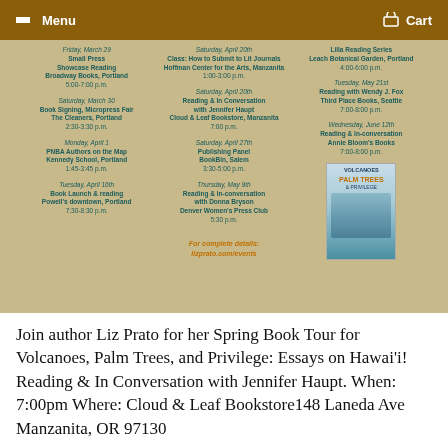Menu   Cart
[Figure (infographic): Spring Book Tour flyer for Liz Prato's Volcanoes, Palm Trees, and Privilege. Three columns of events on a wood-grain background listing dates, venues, and times from March 29 through June 12, plus a book cover image. Footer text: For complete details: lizprato.com/events]
Join author Liz Prato for her Spring Book Tour for Volcanoes, Palm Trees, and Privilege: Essays on Hawai'i!  Reading & In Conversation with Jennifer Haupt. When: 7:00pm Where: Cloud & Leaf Bookstore148 Laneda Ave Manzanita, OR 97130